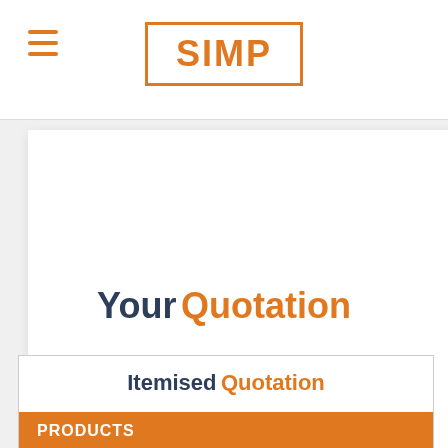SIMP
[Figure (screenshot): White content card area partially visible]
Your Quotation
Itemised Quotation
PRODUCTS